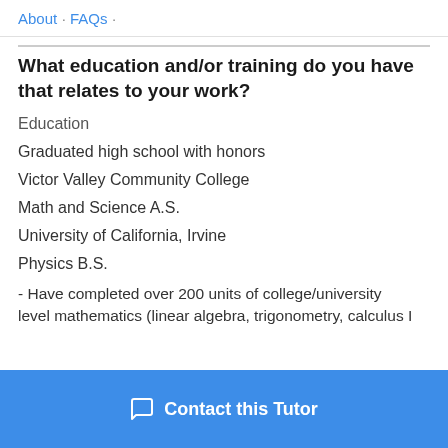About · FAQs ·
What education and/or training do you have that relates to your work?
Education
Graduated high school with honors
Victor Valley Community College
Math and Science A.S.
University of California, Irvine
Physics B.S.
- Have completed over 200 units of college/university
level mathematics (linear algebra, trigonometry, calculus I…
Contact this Tutor